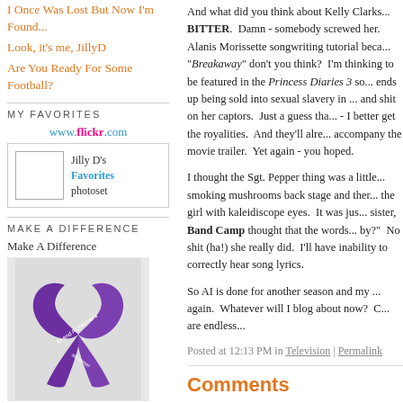I Once Was Lost But Now I'm Found...
Look, it's me, JillyD
Are You Ready For Some Football?
MY FAVORITES
[Figure (other): Flickr photoset widget showing www.flickr.com link, a bordered box with inner white square, and text 'Jilly D's Favorites photoset']
MAKE A DIFFERENCE
Make A Difference
[Figure (photo): Purple Alzheimer's awareness ribbon on gray background with text 'to end Alzheimer's']
And what did you think about Kelly Clarks... BITTER. Damn - somebody screwed her. Alanis Morissette songwriting tutorial beca... "Breakaway" don't you think? I'm thinking to be featured in the Princess Diaries 3 so... ends up being sold into sexual slavery in ... and shit on her captors. Just a guess tha... - I better get the royalities. And they'll alre... accompany the movie trailer. Yet again - you hoped.
I thought the Sgt. Pepper thing was a little... smoking mushrooms back stage and ther... the girl with kaleidiscope eyes. It was jus... sister, Band Camp thought that the words... by?" No shit (ha!) she really did. I'll have inability to correctly hear song lyrics.
So AI is done for another season and my ... again. Whatever will I blog about now? C... are endless...
Posted at 12:13 PM in Television | Permalink
Comments
Yeah - Jordin won!! But you a...